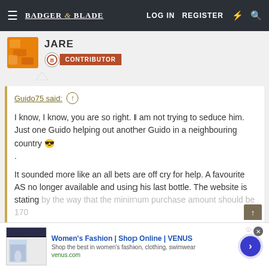Badger & Blade | LOG IN | REGISTER
JARE
CONTRIBUTOR
Guido75 said: ↑
I know, I know, you are so right. I am not trying to seduce him. Just one Guido helping out another Guido in a neighbouring country 😎 .
It sounded more like an all bets are off cry for help. A favourite AS no longer available and using his last bottle. The website is stating by the way that the minimum purchase amount should be 170
Click to expand...
Women's Fashion | Shop Online | VENUS
Shop the best in women's fashion, clothing, swimwear
venus.com